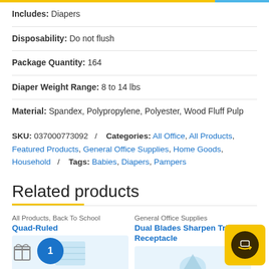Includes: Diapers
Disposability: Do not flush
Package Quantity: 164
Diaper Weight Range: 8 to 14 lbs
Material: Spandex, Polypropylene, Polyester, Wood Fluff Pulp
SKU: 037000773092 / Categories: All Office, All Products, Featured Products, General Office Supplies, Home Goods, Household / Tags: Babies, Diapers, Pampers
Related products
All Products, Back To School
Quad-Ruled
General Office Supplies
Dual Blades Sharpen Triangle Receptacle